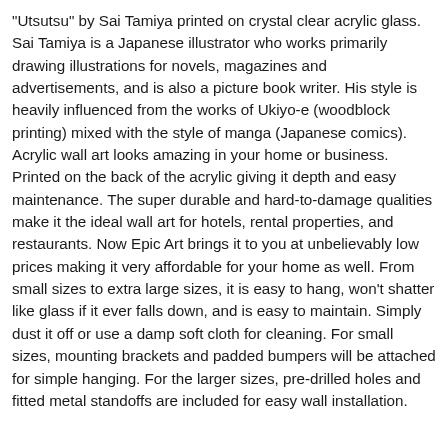"Utsutsu" by Sai Tamiya printed on crystal clear acrylic glass. Sai Tamiya is a Japanese illustrator who works primarily drawing illustrations for novels, magazines and advertisements, and is also a picture book writer. His style is heavily influenced from the works of Ukiyo-e (woodblock printing) mixed with the style of manga (Japanese comics). Acrylic wall art looks amazing in your home or business. Printed on the back of the acrylic giving it depth and easy maintenance. The super durable and hard-to-damage qualities make it the ideal wall art for hotels, rental properties, and restaurants. Now Epic Art brings it to you at unbelievably low prices making it very affordable for your home as well. From small sizes to extra large sizes, it is easy to hang, won't shatter like glass if it ever falls down, and is easy to maintain. Simply dust it off or use a damp soft cloth for cleaning. For small sizes, mounting brackets and padded bumpers will be attached for simple hanging. For the larger sizes, pre-drilled holes and fitted metal standoffs are included for easy wall installation.